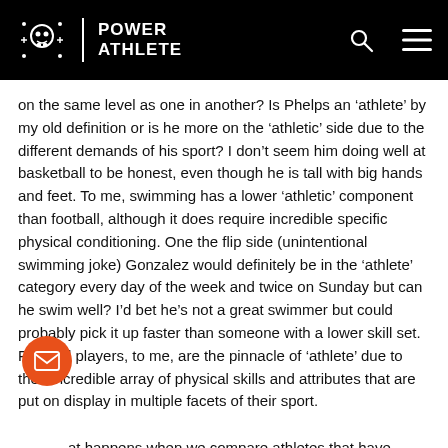POWER ATHLETE
on the same level as one in another? Is Phelps an ‘athlete’ by my old definition or is he more on the ‘athletic’ side due to the different demands of his sport? I don’t seem him doing well at basketball to be honest, even though he is tall with big hands and feet. To me, swimming has a lower ‘athletic’ component than football, although it does require incredible specific physical conditioning. One the flip side (unintentional swimming joke) Gonzalez would definitely be in the ‘athlete’ category every day of the week and twice on Sunday but can he swim well? I’d bet he’s not a great swimmer but could probably pick it up faster than someone with a lower skill set. Football players, to me, are the pinnacle of ‘athlete’ due to their incredible array of physical skills and attributes that are put on display in multiple facets of their sport.
at happens when we compare athletes that have ed high levels of success in their sports? Nothing really. Different sports require different athletes just like different...